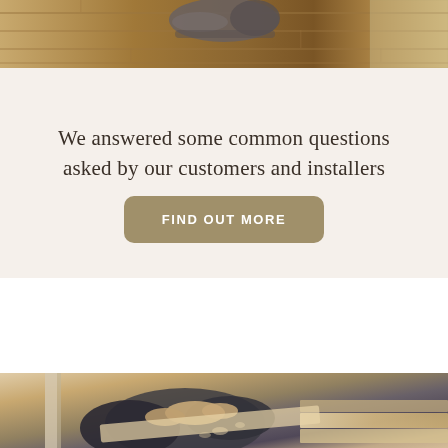[Figure (photo): Top portion of a photo showing wooden flooring with a shoe visible, cropped at the top of the page]
We answered some common questions asked by our customers and installers
FIND OUT MORE
[Figure (photo): Bottom photo showing a person installing wooden flooring planks, wearing dark work clothes]